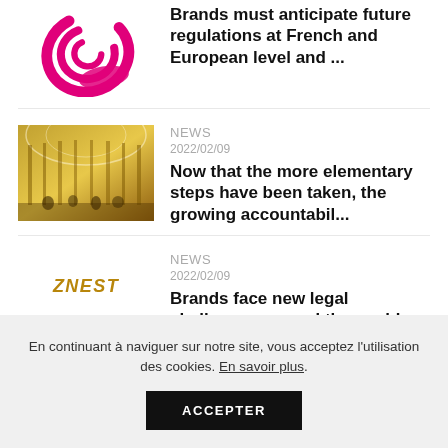[Figure (logo): Pink/magenta circular swirl logo]
NEWS
Brands must anticipate future regulations at French and European level and ...
[Figure (photo): Interior of ornate gilded shopping gallery, Galeries Lafayette style]
NEWS
2022/02/09
Now that the more elementary steps have been taken, the growing accountabil...
[Figure (logo): Stylized italic bold text logo in gold/brown color]
NEWS
2022/02/09
Brands face new legal challenges around the world that advocates hope lead ...
En continuant à naviguer sur notre site, vous acceptez l'utilisation des cookies. En savoir plus.
ACCEPTER